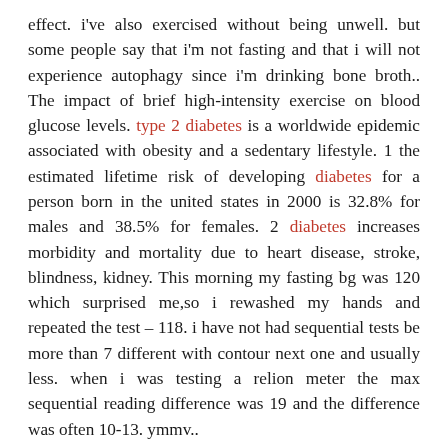effect. i've also exercised without being unwell. but some people say that i'm not fasting and that i will not experience autophagy since i'm drinking bone broth.. The impact of brief high-intensity exercise on blood glucose levels. type 2 diabetes is a worldwide epidemic associated with obesity and a sedentary lifestyle. 1 the estimated lifetime risk of developing diabetes for a person born in the united states in 2000 is 32.8% for males and 38.5% for females. 2 diabetes increases morbidity and mortality due to heart disease, stroke, blindness, kidney. This morning my fasting bg was 120 which surprised me,so i rewashed my hands and repeated the test – 118. i have not had sequential tests be more than 7 different with contour next one and usually less. when i was testing a relion meter the max sequential reading difference was 19 and the difference was often 10-13. ymmv..